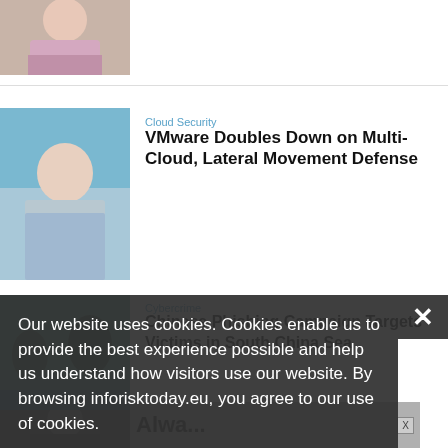[Figure (photo): Person photo top left, partially visible]
[Figure (photo): Man in blue shirt, article 2 photo]
Cloud Security
VMware Doubles Down on Multi-Cloud, Lateral Movement Defense
[Figure (photo): Outdoor landscape photo for cybercrime article]
Cybercrime
Chinese Phishing Campaign Targets Victims in South China Sea
[Figure (photo): Man in dark suit for cybercrime article 2]
Cybercrime
During a War, Cyber Intel Firm Opens Ukraine Office
Our website uses cookies. Cookies enable us to provide the best experience possible and help us understand how visitors use our website. By browsing inforisktoday.eu, you agree to our use of cookies.
[Figure (screenshot): Ad banner at bottom]